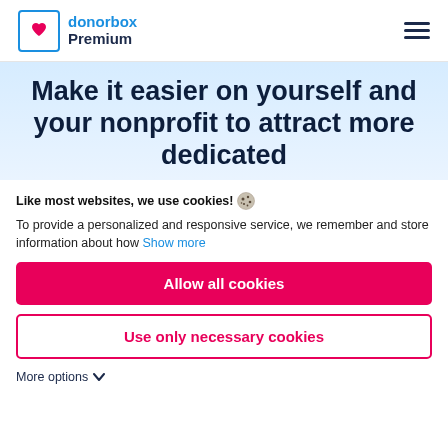donorbox Premium
Make it easier on yourself and your nonprofit to attract more dedicated
Like most websites, we use cookies! To provide a personalized and responsive service, we remember and store information about how Show more
Allow all cookies
Use only necessary cookies
More options